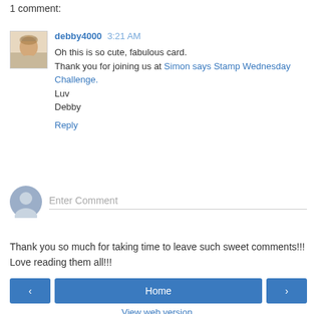1 comment:
debby4000  3:21 AM
Oh this is so cute, fabulous card.
Thank you for joining us at Simon says Stamp Wednesday Challenge.
Luv
Debby
Reply
Enter Comment
Thank you so much for taking time to leave such sweet comments!!! Love reading them all!!!
< Home > View web version